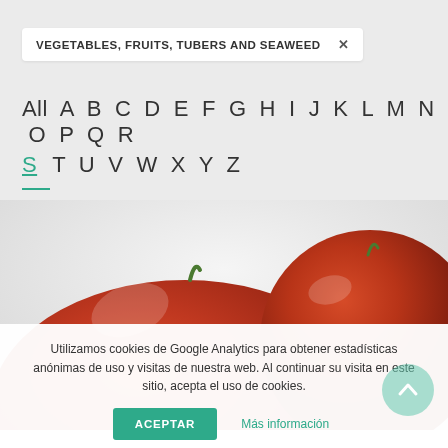VEGETABLES, FRUITS, TUBERS AND SEAWEED ✕
All A B C D E F G H I J K L M N O P Q R S T U V W X Y Z
[Figure (photo): Close-up photo of two red tomatoes on a light background]
Utilizamos cookies de Google Analytics para obtener estadísticas anónimas de uso y visitas de nuestra web. Al continuar su visita en este sitio, acepta el uso de cookies.
ACEPTAR   Más información